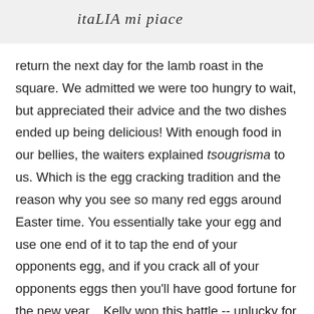itaLIA mi piace
return the next day for the lamb roast in the square. We admitted we were too hungry to wait, but appreciated their advice and the two dishes ended up being delicious! With enough food in our bellies, the waiters explained tsougrisma to us. Which is the egg cracking tradition and the reason why you see so many red eggs around Easter time. You essentially take your egg and use one end of it to tap the end of your opponents egg, and if you crack all of your opponents eggs then you'll have good fortune for the new year... Kelly won this battle -- unlucky for me!